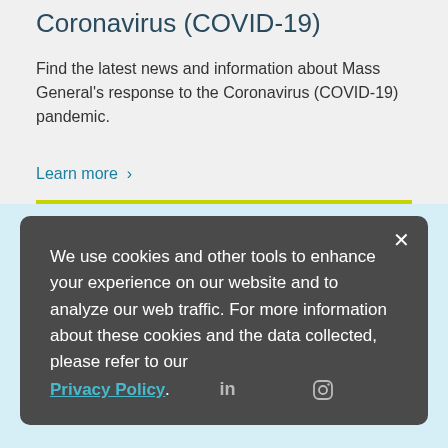Coronavirus (COVID-19)
Find the latest news and information about Mass General's response to the Coronavirus (COVID-19) pandemic.
Learn more ›
Stay Connected with Mass General
We use cookies and other tools to enhance your experience on our website and to analyze our web traffic. For more information about these cookies and the data collected, please refer to our Privacy Policy.